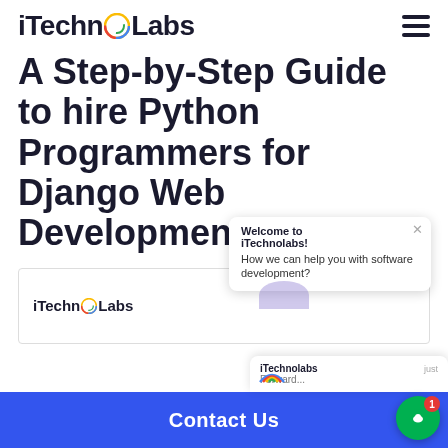iTechnoLabs
A Step-by-Step Guide to hire Python Programmers for Django Web Development
[Figure (screenshot): iTechnoLabs website screenshot showing the logo and a chat popup overlay with text 'Welcome to iTechnolabs! How we can help you with software development?']
Contact Us